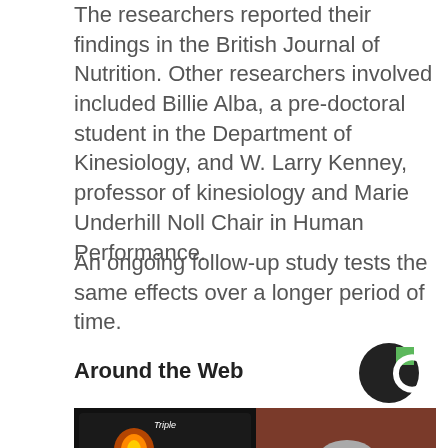The researchers reported their findings in the British Journal of Nutrition. Other researchers involved included Billie Alba, a pre-doctoral student in the Department of Kinesiology, and W. Larry Kenney, professor of kinesiology and Marie Underhill Noll Chair in Human Performance.
An ongoing follow-up study tests the same effects over a longer period of time.
Around the Web
[Figure (photo): Composite image: left side shows a slot machine (Triple screen with colorful reels and payout numbers), right side shows an older man with glasses and gray beard standing in front of slot machines.]